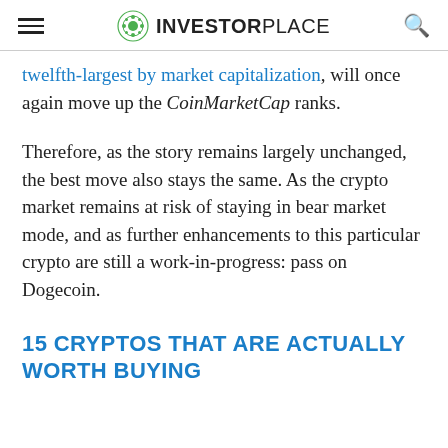INVESTORPLACE
twelfth-largest by market capitalization, will once again move up the CoinMarketCap ranks.
Therefore, as the story remains largely unchanged, the best move also stays the same. As the crypto market remains at risk of staying in bear market mode, and as further enhancements to this particular crypto are still a work-in-progress: pass on Dogecoin.
15 CRYPTOS THAT ARE ACTUALLY WORTH BUYING